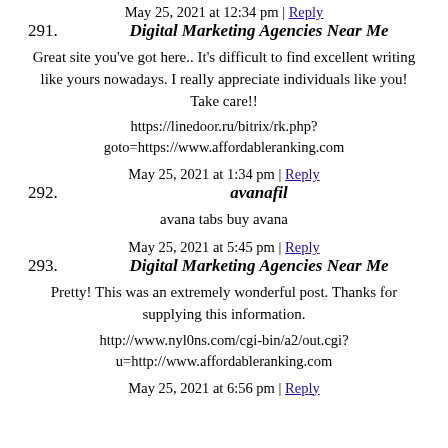291. May 25, 2021 at 12:34 pm | Reply
Digital Marketing Agencies Near Me

Great site you've got here.. It's difficult to find excellent writing like yours nowadays. I really appreciate individuals like you! Take care!!

https://linedoor.ru/bitrix/rk.php?goto=https://www.affordableranking.com
292. May 25, 2021 at 1:34 pm | Reply
avanafil

avana tabs buy avana
293. May 25, 2021 at 5:45 pm | Reply
Digital Marketing Agencies Near Me

Pretty! This was an extremely wonderful post. Thanks for supplying this information.

http://www.nyl0ns.com/cgi-bin/a2/out.cgi?u=http://www.affordableranking.com
May 25, 2021 at 6:56 pm | Reply